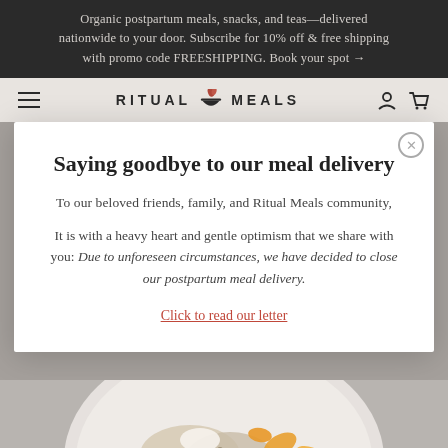Organic postpartum meals, snacks, and teas—delivered nationwide to your door. Subscribe for 10% off & free shipping with promo code FREESHIPPING. Book your spot →
[Figure (logo): Ritual Meals logo with hamburger menu, bowl icon, user icon, and cart icon in a light grey navigation bar]
Saying goodbye to our meal delivery
To our beloved friends, family, and Ritual Meals community,
It is with a heavy heart and gentle optimism that we share with you: Due to unforeseen circumstances, we have decided to close our postpartum meal delivery.
Click to read our letter
[Figure (photo): A bowl of food with grains, vegetables, and toppings on a white plate, photographed from above on a light grey background]